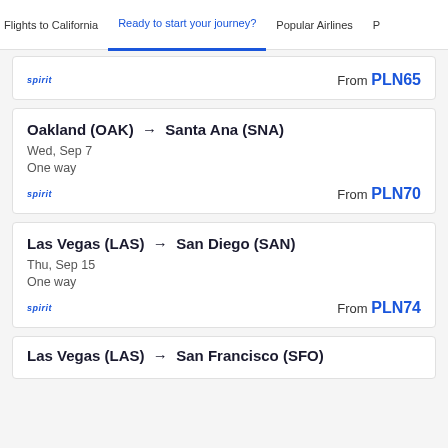Flights to California | Ready to start your journey? | Popular Airlines
spirit | From PLN65
Oakland (OAK) → Santa Ana (SNA)
Wed, Sep 7
One way
spirit | From PLN70
Las Vegas (LAS) → San Diego (SAN)
Thu, Sep 15
One way
spirit | From PLN74
Las Vegas (LAS) → San Francisco (SFO)